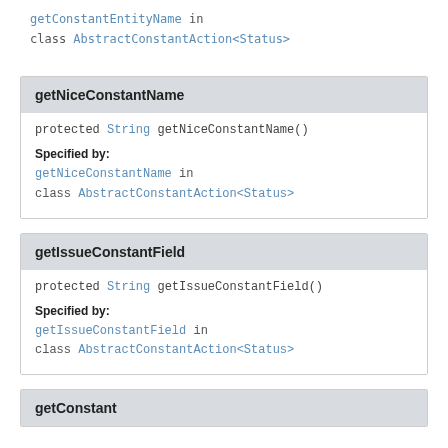getConstantEntityName in
class AbstractConstantAction<Status>
getNiceConstantName
protected String getNiceConstantName()
Specified by:
getNiceConstantName in
class AbstractConstantAction<Status>
getIssueConstantField
protected String getIssueConstantField()
Specified by:
getIssueConstantField in
class AbstractConstantAction<Status>
getConstant